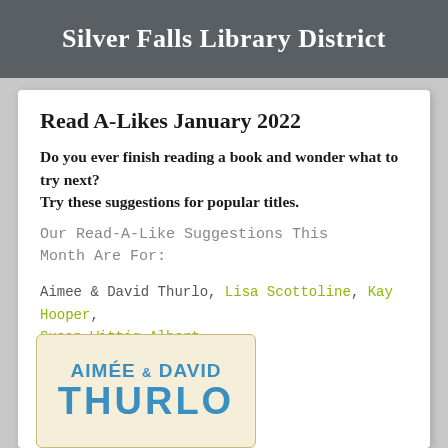Silver Falls Library District
Read A-Likes January 2022
Do you ever finish reading a book and wonder what to try next?
Try these suggestions for popular titles.
Our Read-A-Like Suggestions This Month Are For:
Aimee & David Thurlo, Lisa Scottoline, Kay Hooper, Susan Wittig Albert
[Figure (illustration): Book cover image showing 'AIMÉE & DAVID THURLO' text in blue bold letters on a cream/beige background]